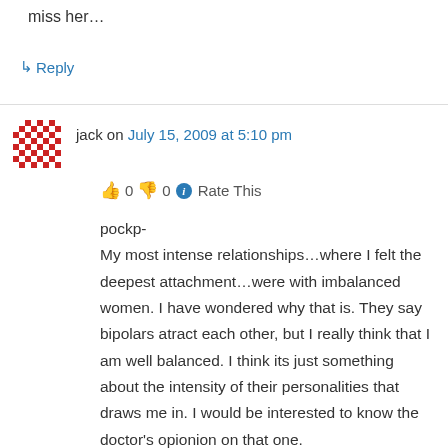miss her…
↳ Reply
jack on July 15, 2009 at 5:10 pm
👍 0 👎 0 ℹ Rate This
pockp-
My most intense relationships…where I felt the deepest attachment…were with imbalanced women. I have wondered why that is. They say bipolars atract each other, but I really think that I am well balanced. I think its just something about the intensity of their personalities that draws me in. I would be interested to know the doctor's opionion on that one.